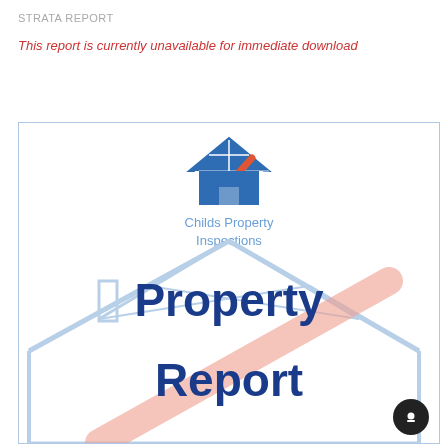STRATA REPORT
This report is currently unavailable for immediate download
Contact Us
[Figure (logo): Childs Property Inspections logo — blue house outline with orange/red checkmark, and company name in blue text below]
[Figure (illustration): Large light blue house outline in background with 'Property Report' text overlaid in dark blue bold font, with a diagonal salmon/pink stripe across it]